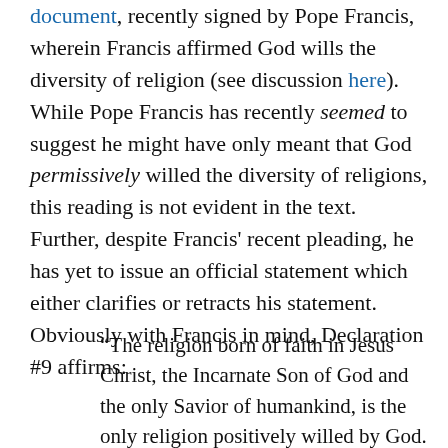document, recently signed by Pope Francis, wherein Francis affirmed God wills the diversity of religion (see discussion here). While Pope Francis has recently seemed to suggest he might have only meant that God permissively willed the diversity of religions, this reading is not evident in the text. Further, despite Francis' recent pleading, he has yet to issue an official statement which either clarifies or retracts his statement. Obviously with Francis in mind, Declaration #9 affirms:
“The religion born of faith in Jesus Christ, the Incarnate Son of God and the only Savior of humankind, is the only religion positively willed by God. The opinion is, therefore, wrong that says that just as God